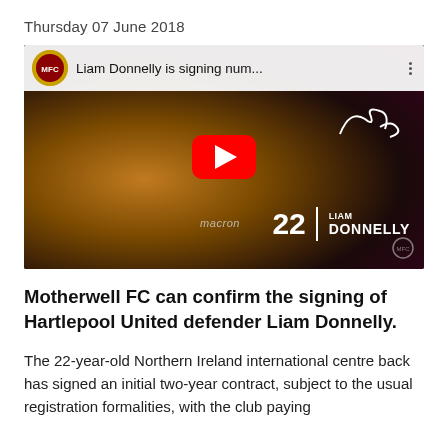Thursday 07 June 2018
[Figure (screenshot): YouTube video thumbnail showing Liam Donnelly in Motherwell FC kit with play button overlay and title 'Liam Donnelly is signing num...']
Motherwell FC can confirm the signing of Hartlepool United defender Liam Donnelly.
The 22-year-old Northern Ireland international centre back has signed an initial two-year contract, subject to the usual registration formalities, with the club paying